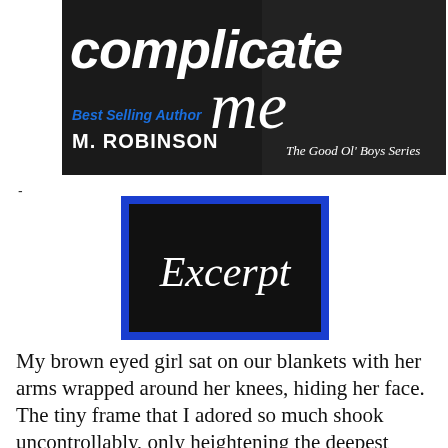[Figure (illustration): Book cover for 'Complicate Me' by Best Selling Author M. Robinson, The Good Ol' Boys Series. Dark background with white text title at top, blue and white author name at bottom left, series name at bottom right.]
-
[Figure (other): Black rectangle with blue border containing the word 'Excerpt' in white italic script font.]
My brown eyed girl sat on our blankets with her arms wrapped around her knees, hiding her face. The tiny frame that I adored so much shook uncontrollably, only heightening the deepest sobbing that escalated with each passing second. It was such an intimate moment, not to be shared with anyone, especially me. Alex didn't cry. I watched her howl